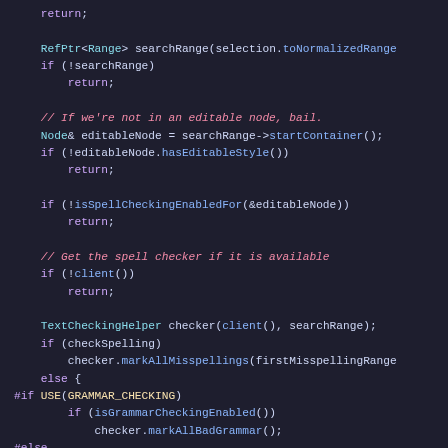[Figure (screenshot): Source code snippet in a dark-themed code editor showing C++ code for spell checking functionality with syntax highlighting: keywords in purple, comments in red/italic, preprocessor directives in purple/yellow, identifiers in cyan/blue.]